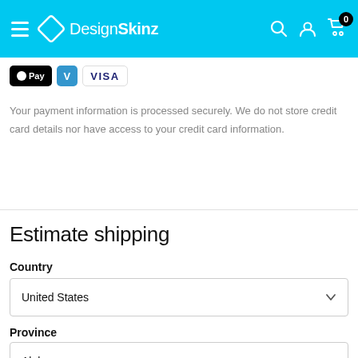DesignSkinz
[Figure (screenshot): Payment method icons: Apple Pay (black), Venmo (blue), Visa (white with border)]
Your payment information is processed securely. We do not store credit card details nor have access to your credit card information.
Estimate shipping
Country
United States
Province
Alabama